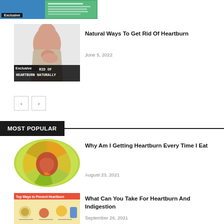[Figure (photo): Small article thumbnail with blue background and 'Exclusive' badge at top left]
[Figure (photo): Woman holding chest/throat area, heartburn illustration with 'HOW TO GET RID OF HEARTBURN NATURALLY' text overlay and 'Exclusive' badge]
Natural Ways To Get Rid Of Heartburn
June 5, 2022
MOST POPULAR
[Figure (illustration): Circular food chart diagram with stomach illustration in center, showing various foods that cause heartburn]
Why Am I Getting Heartburn Every Time I Eat
August 23, 2021
[Figure (infographic): Top Ways to Prevent Heartburn infographic with food illustrations on yellow background]
What Can You Take For Heartburn And Indigestion
September 26, 2021